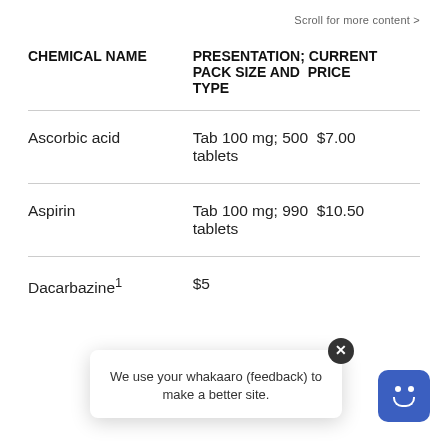Scroll for more content >
| CHEMICAL NAME | PRESENTATION; CURRENT PACK SIZE AND PRICE TYPE |
| --- | --- |
| Ascorbic acid | Tab 100 mg; 500 tablets  $7.00 |
| Aspirin | Tab 100 mg; 990 tablets  $10.50 |
| Dacarbazine¹ | $5… |
We use your whakaaro (feedback) to make a better site.